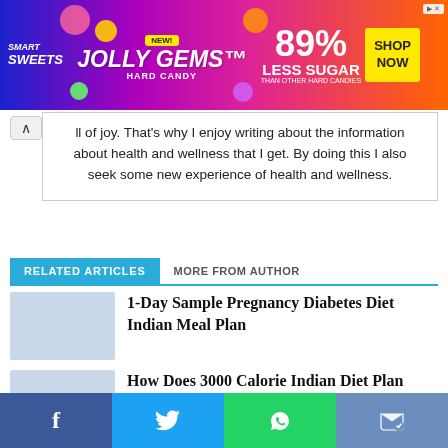[Figure (other): Smart Sweets Jolly Gems Hard Candy advertisement banner: 89% Less Sugar than other hard candies, Shop Now button]
ll of joy. That's why I enjoy writing about the information about health and wellness that I get. By doing this I also seek some new experience of health and wellness.
RELATED ARTICLES   MORE FROM AUTHOR
1-Day Sample Pregnancy Diabetes Diet Indian Meal Plan
How Does 3000 Calorie Indian Diet Plan Look Like?
[Figure (other): Social share bar: Facebook, Twitter, WhatsApp, Messenger icons]